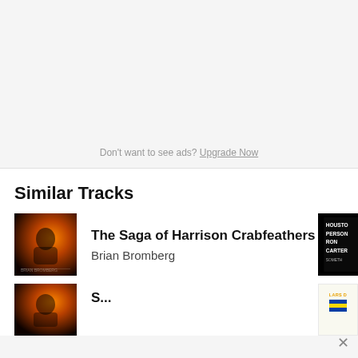Don't want to see ads? Upgrade Now
Similar Tracks
[Figure (photo): Album cover thumbnail for The Saga of Harrison Crabfeathers by Brian Bromberg — dark image with orange tones showing a person]
The Saga of Harrison Crabfeathers
Brian Bromberg
[Figure (photo): Partial album cover on right side showing text: HOUSTON PERSON RON CARTER SOMETHING — black background with white bold text]
[Figure (photo): Second album cover thumbnail — dark image with orange tones, partially visible]
[Figure (photo): Lars D badge with flag icon — partial view of a card on the right side with X close button]